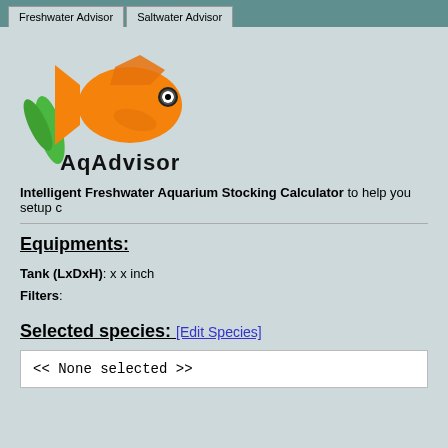Freshwater Advisor | Saltwater Advisor
[Figure (logo): AqAdvisor logo: orange fish with green plants and text 'AqAdvisor']
Intelligent Freshwater Aquarium Stocking Calculator to help you setup c
Equipments:
Tank (LxDxH): x x inch
Filters:
Selected species: [Edit Species]
<< None selected >>